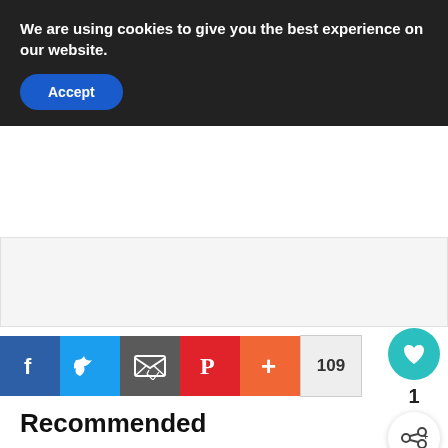We are using cookies to give you the best experience on our website.
Accept
[Figure (screenshot): Gray advertisement placeholder area]
[Figure (infographic): Social share bar with Facebook, Twitter, Email, Pinterest, and plus buttons, showing count 109]
[Figure (infographic): Floating heart/like button (teal) with count 1, and share button below]
Recommended
[Figure (photo): Thumbnail photo of Reeses No Bake Chocolate dessert]
Reeses No Bake Ch…
[Figure (infographic): What's Next overlay with thumbnail and text 'No Bake Peppermint...' and Privacy - Terms footer]